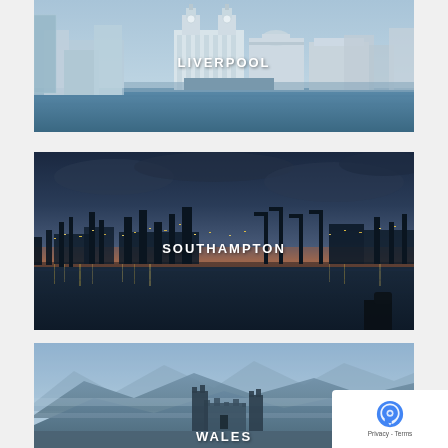[Figure (photo): Aerial/waterfront view of Liverpool skyline with historic Liver Building and other grand architecture, blue-grey tones, water in foreground]
LIVERPOOL
[Figure (photo): Dusk/twilight panoramic photo of Southampton port/docklands with dramatic cloudy sky, warm golden city lights reflecting on water]
SOUTHAMPTON
[Figure (photo): Misty blue mountain landscape of Wales with ruined castle or stone structure in foreground]
WALES